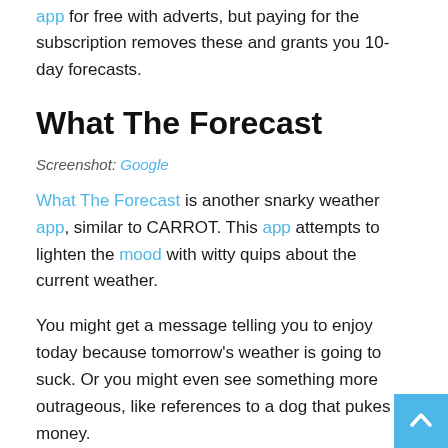app for free with adverts, but paying for the subscription removes these and grants you 10-day forecasts.
What The Forecast
Screenshot: Google
What The Forecast is another snarky weather app, similar to CARROT. This app attempts to lighten the mood with witty quips about the current weather.
You might get a message telling you to enjoy today because tomorrow's weather is going to suck. Or you might even see something more outrageous, like references to a dog that pukes money.
Either way, What the Forecast will let you know the weather with a witty quip that will, hopefully, brighten your day.